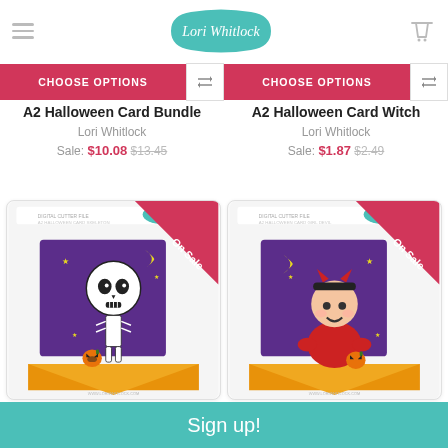[Figure (logo): Lori Whitlock logo in teal badge with script font]
CHOOSE OPTIONS
CHOOSE OPTIONS
A2 Halloween Card Bundle
Lori Whitlock
Sale: $10.08  $13.45
A2 Halloween Card Witch
Lori Whitlock
Sale: $1.87  $2.49
[Figure (photo): A2 Halloween Card Skeleton product photo showing skeleton character on purple Halloween card with orange envelope, On Sale ribbon]
[Figure (photo): A2 Halloween Card Girl Devil product photo showing girl devil character on purple Halloween card with orange envelope, On Sale ribbon]
Sign up!